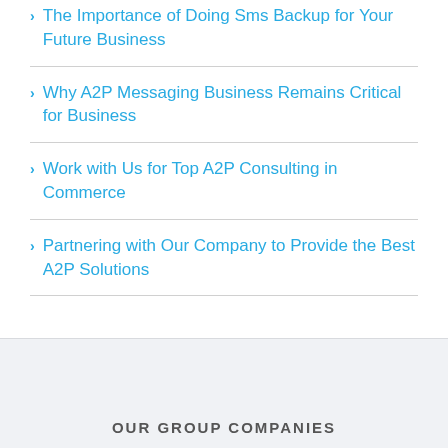The Importance of Doing Sms Backup for Your Future Business
Why A2P Messaging Business Remains Critical for Business
Work with Us for Top A2P Consulting in Commerce
Partnering with Our Company to Provide the Best A2P Solutions
OUR GROUP COMPANIES